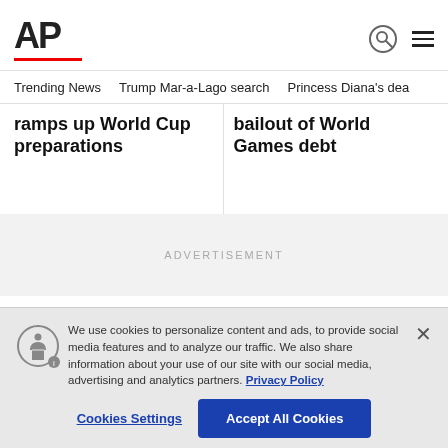AP
Trending News   Trump Mar-a-Lago search   Princess Diana's dea
ramps up World Cup preparations
bailout of World Games debt
ADVERTISEMENT
We use cookies to personalize content and ads, to provide social media features and to analyze our traffic. We also share information about your use of our site with our social media, advertising and analytics partners. Privacy Policy
Cookies Settings
Accept All Cookies